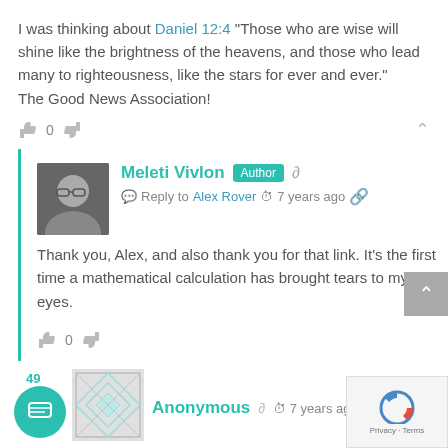I was thinking about Daniel 12:4 “Those who are wise will shine like the brightness of the heavens, and those who lead many to righteousness, like the stars for ever and ever.”
The Good News Association!
Meleti Vivlon Author — Reply to Alex Rover — 7 years ago
Thank you, Alex, and also thank you for that link. It’s the first time a mathematical calculation has brought tears to my eyes.
Anonymous — 7 years ago